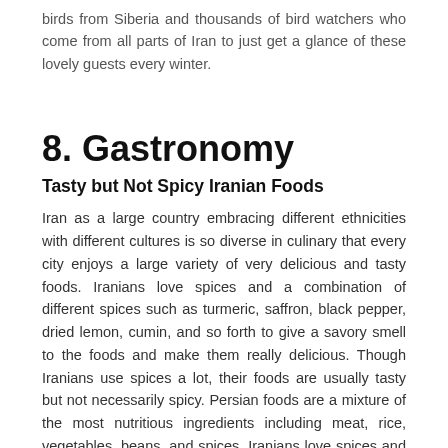birds from Siberia and thousands of bird watchers who come from all parts of Iran to just get a glance of these lovely guests every winter.
8. Gastronomy
Tasty but Not Spicy Iranian Foods
Iran as a large country embracing different ethnicities with different cultures is so diverse in culinary that every city enjoys a large variety of very delicious and tasty foods. Iranians love spices and a combination of different spices such as turmeric, saffron, black pepper, dried lemon, cumin, and so forth to give a savory smell to the foods and make them really delicious. Though Iranians use spices a lot, their foods are usually tasty but not necessarily spicy. Persian foods are a mixture of the most nutritious ingredients including meat, rice, vegetables, beans, and spices. Iranians love spices and a combination of different spices such as turmeric, saffron, black pepper, dried lemon, cumin, and so forth to give a savory smell to the foods and make them really